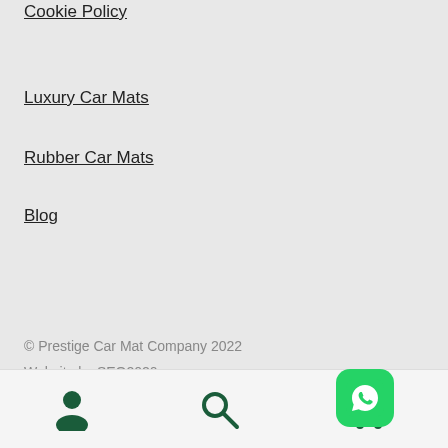Cookie Policy
Luxury Car Mats
Rubber Car Mats
Blog
© Prestige Car Mat Company 2022
Website by SEO2020